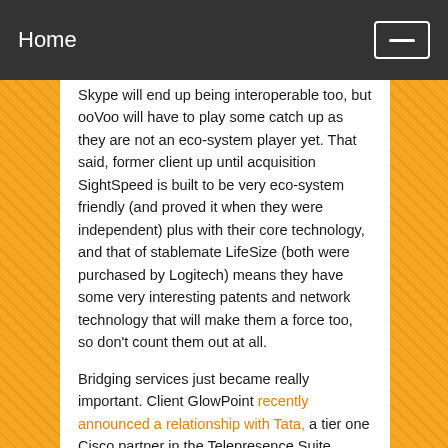Home
Skype will end up being interoperable too, but ooVoo will have to play some catch up as they are not an eco-system player yet. That said, former client up until acquisition SightSpeed is built to be very eco-system friendly (and proved it when they were independent) plus with their core technology, and that of stablemate LifeSize (both were purchased by Logitech) means they have some very interesting patents and network technology that will make them a force too, so don't count them out at all.
Bridging services just became really important. Client GlowPoint recently announced a relationship with Tata, a tier one Cisco partner in the Telepresence Suite universe that Cisco holds holy. They bridge to everyone. So think about how client xConnect is building peering federations for voice and apply that thinking to Glowpoint and you'll see they're already there at being the video communication's switchboard. Given how everyone doesn't use Cisco or Tandberg, but people will still need to "see" one another, well you get the (Glowpoint) picture